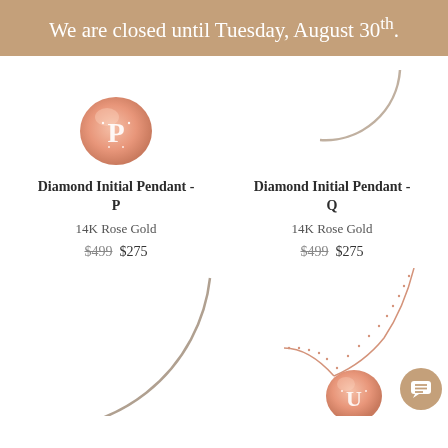We are closed until Tuesday, August 30th.
[Figure (photo): Diamond Initial Pendant P - rose gold circular pendant with letter P in diamonds, shown on white background]
[Figure (photo): Diamond Initial Pendant Q - partial view of rose gold circular pendant, showing arc of pendant on white background]
Diamond Initial Pendant - P
14K Rose Gold
$499  $275
Diamond Initial Pendant - Q
14K Rose Gold
$499  $275
[Figure (photo): Large partial arc/circle outline in gray on left side of page]
[Figure (photo): Diamond Initial Pendant U - rose gold circular pendant with letter U in diamonds on a rose gold chain necklace]